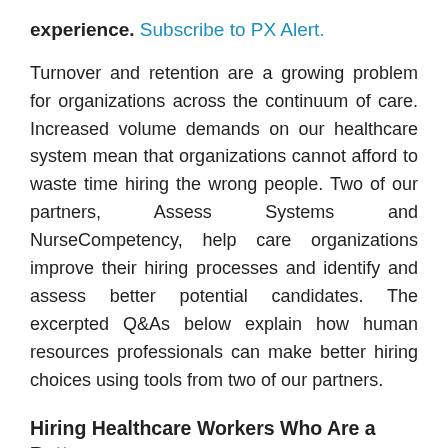experience. Subscribe to PX Alert.
Turnover and retention are a growing problem for organizations across the continuum of care. Increased volume demands on our healthcare system mean that organizations cannot afford to waste time hiring the wrong people. Two of our partners, Assess Systems and NurseCompetency, help care organizations improve their hiring processes and identify and assess better potential candidates. The excerpted Q&As below explain how human resources professionals can make better hiring choices using tools from two of our partners.
Hiring Healthcare Workers Who Are a Better